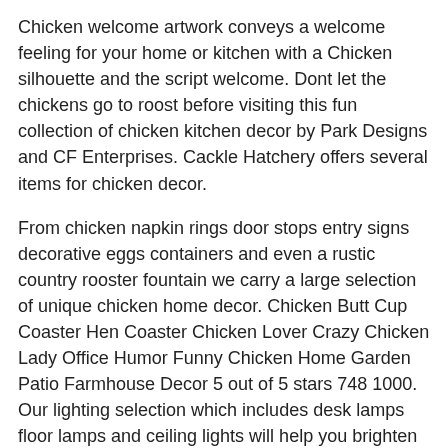Chicken welcome artwork conveys a welcome feeling for your home or kitchen with a Chicken silhouette and the script welcome. Dont let the chickens go to roost before visiting this fun collection of chicken kitchen decor by Park Designs and CF Enterprises. Cackle Hatchery offers several items for chicken decor.
From chicken napkin rings door stops entry signs decorative eggs containers and even a rustic country rooster fountain we carry a large selection of unique chicken home decor. Chicken Butt Cup Coaster Hen Coaster Chicken Lover Crazy Chicken Lady Office Humor Funny Chicken Home Garden Patio Farmhouse Decor 5 out of 5 stars 748 1000. Our lighting selection which includes desk lamps floor lamps and ceiling lights will help you brighten things up.
Wall Art from 15. 73 – 5928 59. Beach scenes lush greens more faves.
Chicken Kitchen Decorating Theme. Find chicken kitchen decorations decorative chickens and even repurposed chicken coop decor items such as our old chicken feeder pendant light fixture and our. Chicken Butt Cup Coaster Hen Coaster Chicken Lover Crazy Chicken Lady Office Humor Funny Chicken Home Garden Patio Farmhouse Dec...